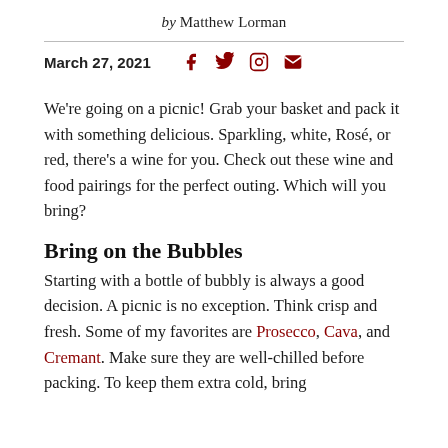by Matthew Lorman
March 27, 2021
We're going on a picnic! Grab your basket and pack it with something delicious. Sparkling, white, Rosé, or red, there's a wine for you. Check out these wine and food pairings for the perfect outing. Which will you bring?
Bring on the Bubbles
Starting with a bottle of bubbly is always a good decision. A picnic is no exception. Think crisp and fresh. Some of my favorites are Prosecco, Cava, and Cremant. Make sure they are well-chilled before packing. To keep them extra cold, bring